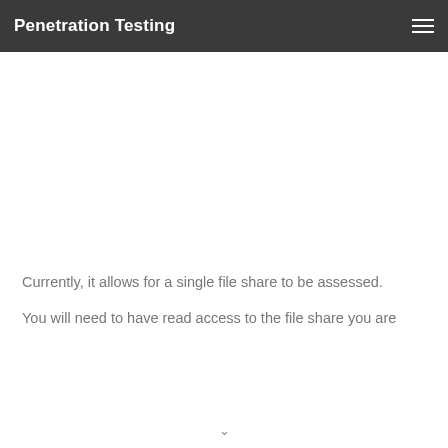Penetration Testing
Currently, it allows for a single file share to be assessed.
You will need to have read access to the file share you are